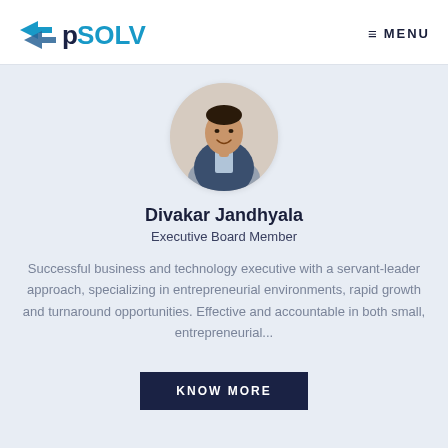pSOLV | MENU
[Figure (photo): Circular profile photo of Divakar Jandhyala, a man in a suit, against a light background.]
Divakar Jandhyala
Executive Board Member
Successful business and technology executive with a servant-leader approach, specializing in entrepreneurial environments, rapid growth and turnaround opportunities. Effective and accountable in both small, entrepreneurial...
KNOW MORE